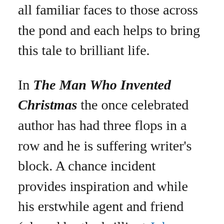all familiar faces to those across the pond and each helps to bring this tale to brilliant life.
In The Man Who Invented Christmas the once celebrated author has had three flops in a row and he is suffering writer's block. A chance incident provides inspiration and while his erstwhile agent and friend (played by the brilliant John Edwards) supports the increasingly desperate writer.
There are elements of melodrama in this Christmas tale about the miser who changes his ways after being visited by